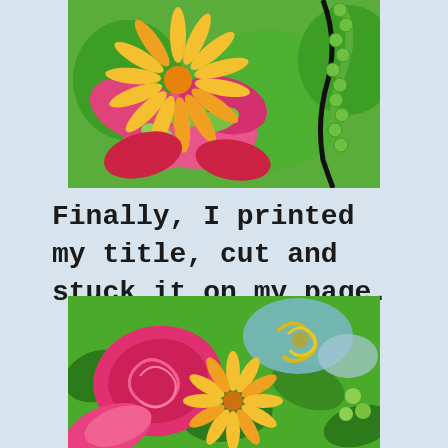[Figure (photo): Close-up photo of colorful decorative quilled paper art showing a large flower with yellow/orange petals, pink and red layered shapes, green textured elements and a black curved vine against a green background.]
Finally, I printed my title, cut and stuck it on my page.
[Figure (photo): Close-up photo of colorful decorative quilled/textured paper art showing bright pink, yellow, red and green layered swirling flower and leaf shapes with raised dimensional textures.]